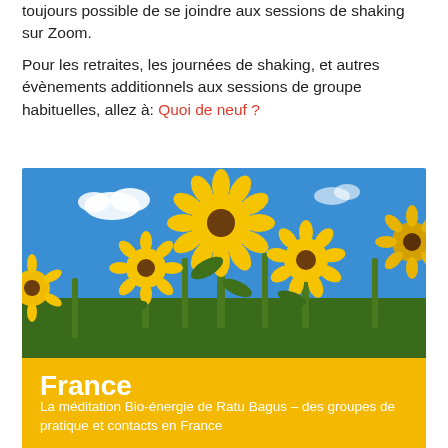toujours possible de se joindre aux sessions de shaking sur Zoom.
Pour les retraites, les journées de shaking, et autres évènements additionnels aux sessions de groupe habituelles, allez à: Quoi de neuf?
[Figure (photo): A field of sunflowers under a bright blue sky with a few white clouds. The sunflowers are large, yellow, and face upward toward the sun.]
France
La méditation Bio-énergie de Ratu Bagus – des groupes de pratique et contacts en France